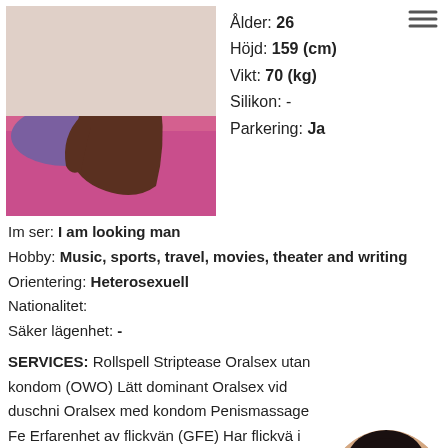[Figure (photo): Photo of a person sitting on a bed with pink/magenta bedding]
Ålder: 26
Höjd: 159 (cm)
Vikt: 70 (kg)
Silikon: -
Parkering: Ja
Im ser: I am looking man
Hobby: Music, sports, travel, movies, theater and writing
Orientering: Heterosexuell
Nationalitet:
Säker lägenhet: -
SERVICES: Rollspell Striptease Oralsex utan kondom (OWO) Lätt dominant Oralsex vid duschning Oralsex med kondom Penismassage Fe... Erfarenhet av flickvän (GFE) Har flickvä... i munnen) Kyss Tar emot slavar Prostatem... Tungkyssar Tortyr Fista Duscha tillsammans COB
[Figure (photo): Circular thumbnail photo of a dark-haired person]